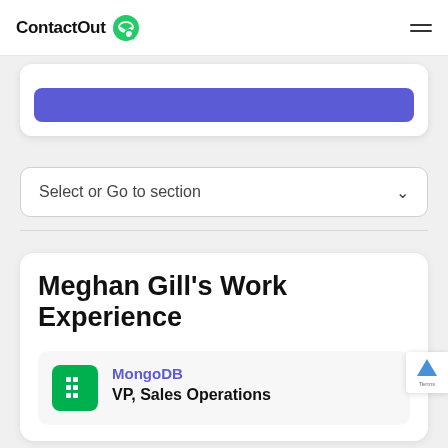ContactOut
Select or Go to section
Meghan Gill's Work Experience
MongoDB
VP, Sales Operations